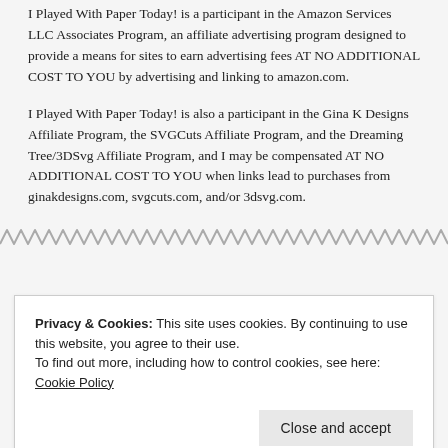I Played With Paper Today! is a participant in the Amazon Services LLC Associates Program, an affiliate advertising program designed to provide a means for sites to earn advertising fees AT NO ADDITIONAL COST TO YOU by advertising and linking to amazon.com.
I Played With Paper Today! is also a participant in the Gina K Designs Affiliate Program, the SVGCuts Affiliate Program, and the Dreaming Tree/3DSvg Affiliate Program, and I may be compensated AT NO ADDITIONAL COST TO YOU when links lead to purchases from ginakdesigns.com, svgcuts.com, and/or 3dsvg.com.
Privacy & Cookies: This site uses cookies. By continuing to use this website, you agree to their use. To find out more, including how to control cookies, see here: Cookie Policy
Close and accept